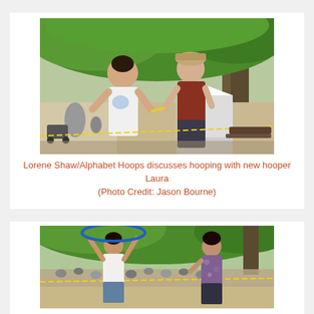[Figure (photo): Two women standing outdoors in a park under green trees at a festival. One woman in a white tank top and the other in a floral/rust-colored top are talking and exchanging something. There is a crowd and tents visible in the background.]
Lorene Shaw/Alphabet Hoops discusses hooping with new hooper Laura (Photo Credit: Jason Bourne)
[Figure (photo): Outdoor park scene with people hula hooping. One person in a white tank top spins a hoop above their head while another person in a floral outfit stands nearby. A large crowd is seated in the background under trees.]